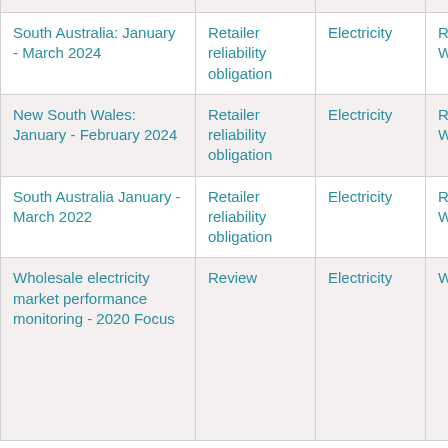| Title | Type | Sector | Market | Region |
| --- | --- | --- | --- | --- |
| South Australia: January - March 2024 | Retailer reliability obligation | Electricity | Retail, Wholesale | South Australia |
| New South Wales: January - February 2024 | Retailer reliability obligation | Electricity | Retail, Wholesale | New South Wales |
| South Australia January - March 2022 | Retailer reliability obligation | Electricity | Retail, Wholesale | South Australia |
| Wholesale electricity market performance monitoring - 2020 Focus | Review | Electricity | Wholesale | Australian Capital Territory, New South Wales, Victoria, Queensland, Tasmania |